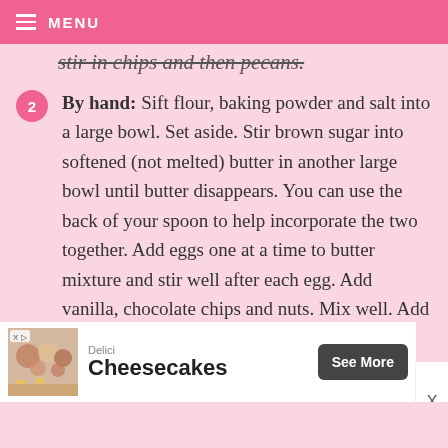MENU
stir in chips and then pecans.
By hand: Sift flour, baking powder and salt into a large bowl. Set aside. Stir brown sugar into softened (not melted) butter in another large bowl until butter disappears. You can use the back of your spoon to help incorporate the two together. Add eggs one at a time to butter mixture and stir well after each egg. Add vanilla, chocolate chips and nuts. Mix well. Add dry flour mixture and stir until well combined.
Coat a 13 X 9 pan with non-stick spray and
[Figure (other): Advertisement banner for Delici Cheesecakes with food photo and See More button]